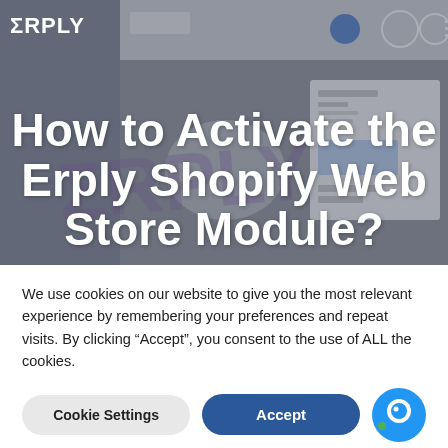[Figure (screenshot): Erply website hero image with navigation bar showing ERPLY logo, globe icon, headphone icon, user icon, and hamburger menu. Background shows a blurred screen/tablet mockup of the Erply product interface.]
How to Activate the Erply Shopify Web Store Module?
We use cookies on our website to give you the most relevant experience by remembering your preferences and repeat visits. By clicking “Accept”, you consent to the use of ALL the cookies.